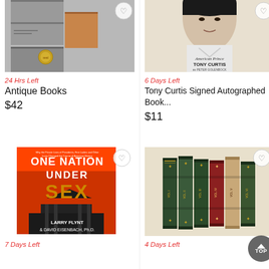[Figure (photo): Antique books stacked, metallic/orange covers]
24 Hrs Left
Antique Books
$42
[Figure (photo): Tony Curtis book cover - American Prince, signed autographed book]
6 Days Left
Tony Curtis Signed Autographed Book...
$11
[Figure (photo): One Nation Under Sex book cover by Larry Flynt and David Eisenbach Ph.D.]
7 Days Left
[Figure (photo): Set of antique leather-bound books standing upright, green and red spines]
4 Days Left